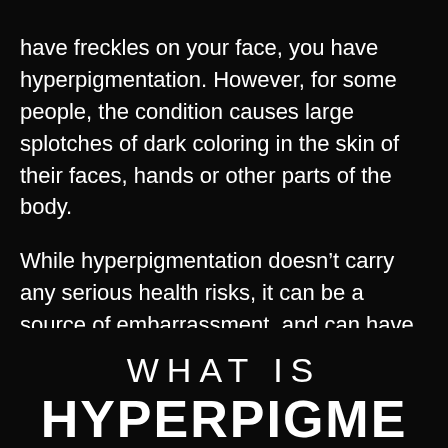have freckles on your face, you have hyperpigmentation. However, for some people, the condition causes large splotches of dark coloring in the skin of their faces, hands or other parts of the body.
While hyperpigmentation doesn't carry any serious health risks, it can be a source of embarrassment, and can have a detrimental effect on a person's confidence and self-esteem.
WHAT IS HYPERPIGME